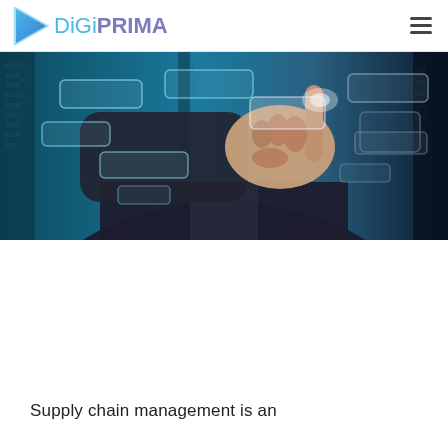DiGiPRIMA
[Figure (photo): A person in a business suit extending a finger to touch a glowing digital interface with multiple translucent rectangular panels against a teal and dark background with binary code]
Supply chain management is an